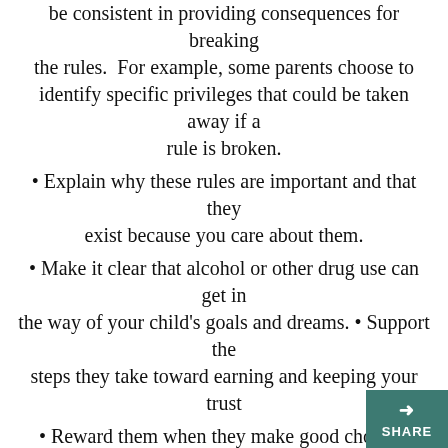be consistent in providing consequences for breaking the rules.  For example, some parents choose to identify specific privileges that could be taken away if a rule is broken.
• Explain why these rules are important and that they exist because you care about them.
• Make it clear that alcohol or other drug use can get in the way of your child's goals and dreams. • Support the steps they take toward earning and keeping your trust
• Reward them when they make good choices.
Stay Involved
• When your adolescent goes out, make sure you know the “who, what, where, and when.”
• In high school, adolescents need to gain their sense of independence by making some of their own deci… You can help them by offering ideas for healt…